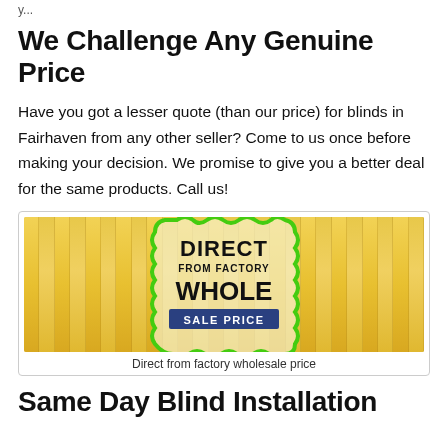y...
We Challenge Any Genuine Price
Have you got a lesser quote (than our price) for blinds in Fairhaven from any other seller? Come to us once before making your decision. We promise to give you a better deal for the same products. Call us!
[Figure (photo): Photo of vertical yellow blinds with a green scallop-bordered badge reading DIRECT FROM FACTORY WHOLESALE PRICE on a dark blue background banner]
Direct from factory wholesale price
Same Day Blind Installation